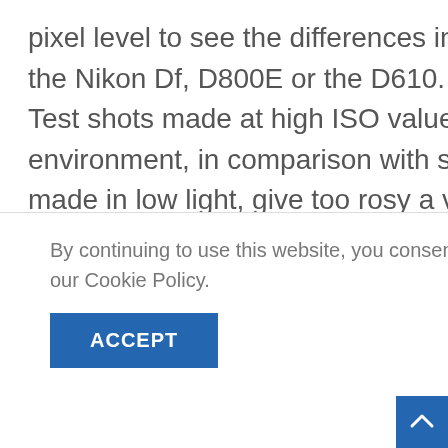pixel level to see the differences in noise between the Nikon Df, D800E or the D610.
Test shots made at high ISO values in a studio environment, in comparison with sample pictures made in low light, give too rosy a view at high ISO values. We therefore made sample pictures in a low light setting which we...
By continuing to use this website, you consent to the use of cookies in accordance with our Cookie Policy.
ACCEPT